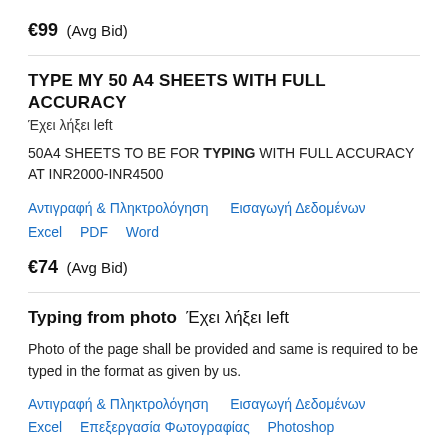€99  (Avg Bid)
TYPE MY 50 A4 SHEETS WITH FULL ACCURACY
Έχει λήξει left
50A4 SHEETS TO BE FOR TYPING WITH FULL ACCURACY AT INR2000-INR4500
Αντιγραφή & Πληκτρολόγηση   Εισαγωγή Δεδομένων
Excel   PDF   Word
€74  (Avg Bid)
Typing from photo  Έχει λήξει left
Photo of the page shall be provided and same is required to be typed in the format as given by us.
Αντιγραφή & Πληκτρολόγηση   Εισαγωγή Δεδομένων
Excel   Επεξεργασία Φωτογραφίας   Photoshop